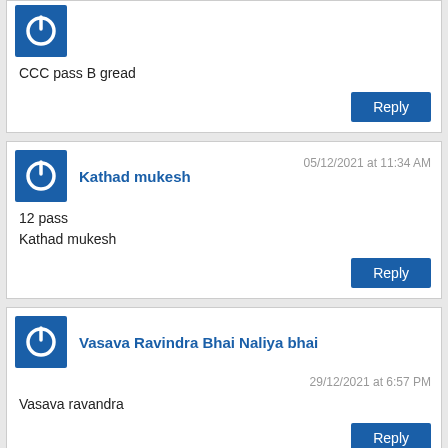[Figure (illustration): Blue square avatar with white power button icon]
CCC pass B gread
Reply
[Figure (illustration): Blue square avatar with white power button icon]
Kathad mukesh
05/12/2021 at 11:34 AM
12 pass
Kathad mukesh
Reply
[Figure (illustration): Blue square avatar with white power button icon]
Vasava Ravindra Bhai Naliya bhai
29/12/2021 at 6:57 PM
Vasava ravandra
Reply
[Figure (illustration): Blue square avatar with white power button icon]
Parmar Ravikumar parvinbhai